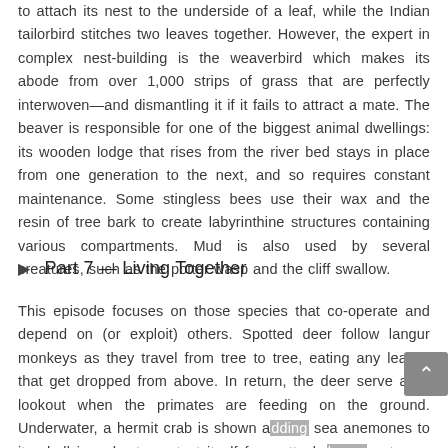to attach its nest to the underside of a leaf, while the Indian tailorbird stitches two leaves together. However, the expert in complex nest-building is the weaverbird which makes its abode from over 1,000 strips of grass that are perfectly interwoven—and dismantling it if it fails to attract a mate. The beaver is responsible for one of the biggest animal dwellings: its wooden lodge that rises from the river bed stays in place from one generation to the next, and so requires constant maintenance. Some stingless bees use their wax and the resin of tree bark to create labyrinthine structures containing various compartments. Mud is also used by several creatures, such as the potter wasp and the cliff swallow.
▶  Part 7 — Living Together
This episode focuses on those species that co-operate and depend on (or exploit) others. Spotted deer follow langur monkeys as they travel from tree to tree, eating any leaves that get dropped from above. In return, the deer serve as a lookout when the primates are feeding on the ground. Underwater, a hermit crab is shown adding sea anemones to its shell in order to protect itself from attack by an octopus, and a goby assists a virtually blind shrimp. Fleas, lice and